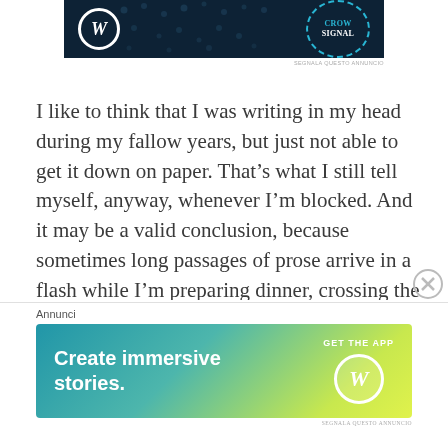[Figure (screenshot): WordPress and CrowdSignal co-branded advertisement banner on dark navy background with decorative dots]
SEGNALA QUESTO ANNUNCIO
I like to think that I was writing in my head during my fallow years, but just not able to get it down on paper. That’s what I still tell myself, anyway, whenever I’m blocked. And it may be a valid conclusion, because sometimes long passages of prose arrive in a flash while I’m preparing dinner, crossing the street, or taking a shower. I’ve jotted sentences down in my checkbook, the margin of a newspaper, and even on the back of my hand. A sympathetic friend once gave me crayons that write on wet tile. Despite my dry spells, the work fairly flows once I get started. My entire first
Annunci
[Figure (screenshot): WordPress app advertisement: 'Create immersive stories. GET THE APP' with WordPress logo on gradient teal-to-yellow background]
SEGNALA QUESTO ANNUNCIO